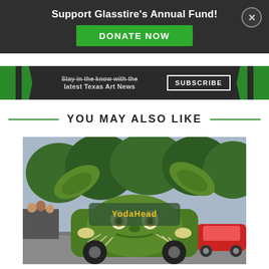Support Glasstire's Annual Fund!
DONATE NOW
Stay in the know with the latest Texas Art News   SUBSCRIBE
YOU MAY ALSO LIKE
[Figure (photo): A car decorated as Yoda from Star Wars, with large green ears, Yoda face on the hood, labeled 'Yoda Head' on the windshield, driving in a parade with spectators and trees in the background.]